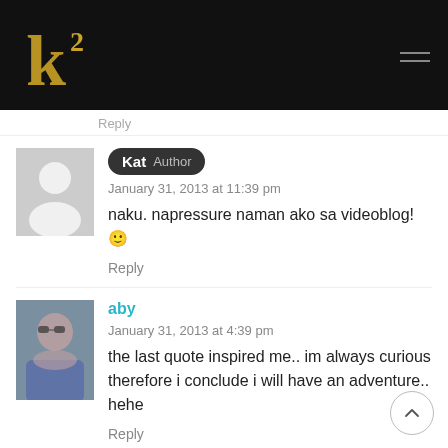K2 [logo]
Reply
Kat Author
January 31, 2013 at 11:39 pm
naku. napressure naman ako sa videoblog! 🙂
Reply
aby
January 31, 2013 at 4:39 pm
the last quote inspired me.. im always curious therefore i conclude i will have an adventure.. hehe
Reply
Kat Author